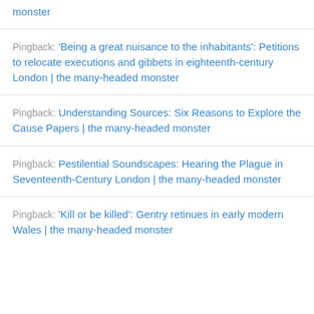monster
Pingback: 'Being a great nuisance to the inhabitants': Petitions to relocate executions and gibbets in eighteenth-century London | the many-headed monster
Pingback: Understanding Sources: Six Reasons to Explore the Cause Papers | the many-headed monster
Pingback: Pestilential Soundscapes: Hearing the Plague in Seventeenth-Century London | the many-headed monster
Pingback: 'Kill or be killed': Gentry retinues in early modern Wales | the many-headed monster